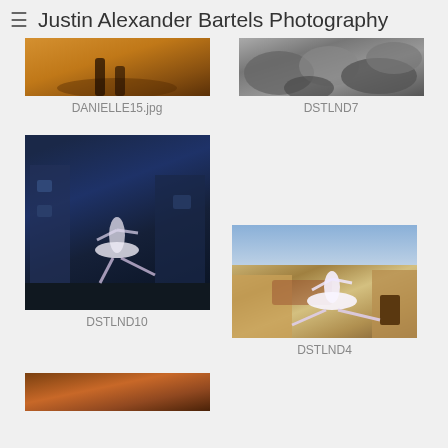≡  Justin Alexander Bartels Photography
[Figure (photo): Partial view of ballet dancer on warm sandy ground, DANIELLE15.jpg]
DANIELLE15.jpg
[Figure (photo): Black and white photo of rocks, DSTLND7]
DSTLND7
[Figure (photo): Ballet dancer in white tutu leaping in dark urban/industrial setting with blue tones, DSTLND10]
DSTLND10
[Figure (photo): Ballet dancer in white tutu leaping outdoors near stone building with warm golden light, DSTLND4]
DSTLND4
[Figure (photo): Partial view of another photo at the bottom of the page]